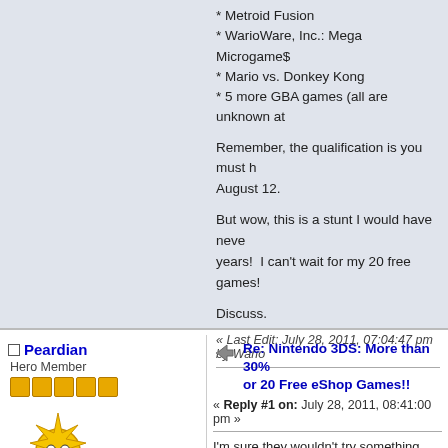* Metroid Fusion
* WarioWare, Inc.: Mega Microgame$
* Mario vs. Donkey Kong
* 5 more GBA games (all are unknown at
Remember, the qualification is you must h… August 12.
But wow, this is a stunt I would have neve… years!  I can't wait for my 20 free games!
Discuss.
« Last Edit: July 28, 2011, 07:04:47 pm by Wario
Peardian
Hero Member
Posts: 627
Re: Nintendo 3DS: More than 30% or 20 Free eShop Games!!
« Reply #1 on: July 28, 2011, 08:41:00 pm »
I'm sure they wouldn't try something like t… knew it would turn a profit. I'm really excit… are games I didn't get when they were ou…